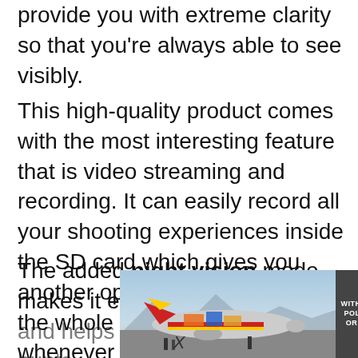provide you with extreme clarity so that you're always able to see visibly.
This high-quality product comes with the most interesting feature that is video streaming and recording. It can easily record all your shooting experiences inside the SD card which gives you another opportunity to go through the whole experience again and whenever you want to.
The added night vision mode makes it even more compatible and helps you complete your hunts
[Figure (photo): Advertisement banner showing a cargo airplane being loaded on a tarmac, with colorful freight visible. Text overlay on dark grey panel reads: WITHOUT REGARD TO POLITICS, RELIGION OR HEALTH TO PAL]
X